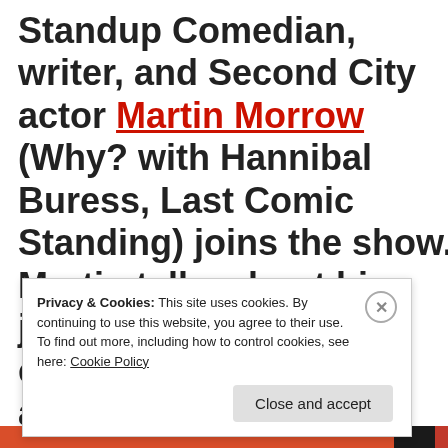Standup Comedian, writer, and Second City actor Martin Morrow (Why? with Hannibal Buress, Last Comic Standing) joins the show. Martin talks about his journey in the Chicago comedy scene, how he applies his improv training to standup,
Privacy & Cookies: This site uses cookies. By continuing to use this website, you agree to their use. To find out more, including how to control cookies, see here: Cookie Policy
Close and accept